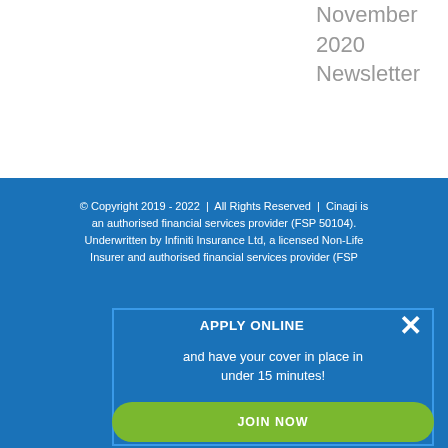November
2020
Newsletter
© Copyright 2019 - 2022  |  All Rights Reserved  |  Cinagi is an authorised financial services provider (FSP 50104). Underwritten by Infiniti Insurance Ltd, a licensed Non-Life Insurer and authorised financial services provider (FSP
[Figure (infographic): Popup overlay with 'APPLY ONLINE' heading, text 'and have your cover in place in under 15 minutes!', a green 'JOIN NOW' button, and a white X close button in the top right corner.]